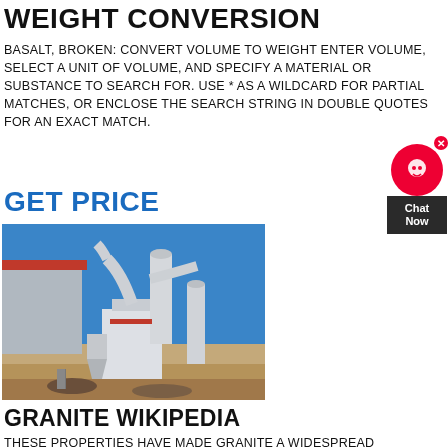WEIGHT CONVERSION
BASALT, BROKEN: CONVERT VOLUME TO WEIGHT ENTER VOLUME, SELECT A UNIT OF VOLUME, AND SPECIFY A MATERIAL OR SUBSTANCE TO SEARCH FOR. USE * AS A WILDCARD FOR PARTIAL MATCHES, OR ENCLOSE THE SEARCH STRING IN DOUBLE QUOTES FOR AN EXACT MATCH.
GET PRICE
[Figure (photo): Industrial grinding mill or pulverizer machine outdoors with white pipes and cylindrical components, against a blue sky. Red-roofed building in background.]
GRANITE WIKIPEDIA
THESE PROPERTIES HAVE MADE GRANITE A WIDESPREAD